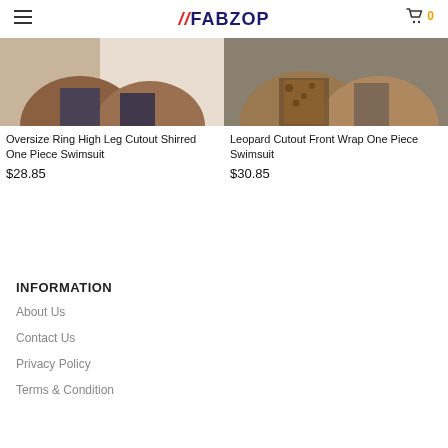//FABZOP
[Figure (photo): Product photo: bottom half of model wearing dark one-piece swimsuit at beach]
[Figure (photo): Product photo: model wearing leopard print one-piece swimsuit]
Oversize Ring High Leg Cutout Shirred One Piece Swimsuit
$28.85
Leopard Cutout Front Wrap One Piece Swimsuit
$30.85
INFORMATION
About Us
Contact Us
Privacy Policy
Terms & Condition